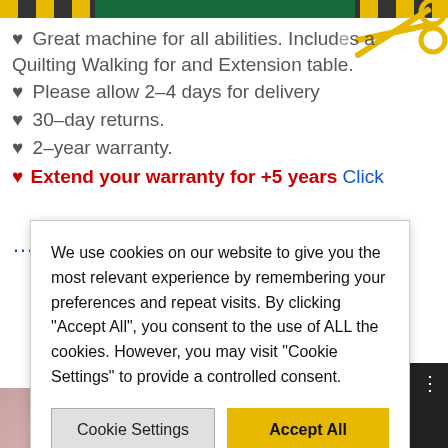♥ Great machine for all abilities. Includes a Quilting Walking for and Extension table.
♥ Please allow 2-4 days for delivery
♥ 30-day returns.
♥ 2-year warranty.
♥ Extend your warranty for +5 years Click [partially visible]
We use cookies on our website to give you the most relevant experience by remembering your preferences and repeat visits. By clicking "Accept All", you consent to the use of ALL the cookies. However, you may visit "Cookie Settings" to provide a controlled consent.
Cookie Settings | Accept All